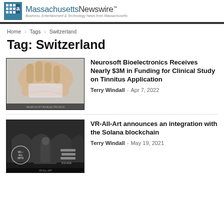Massachusetts Newswire™ — Business, Entertainment & Technology News from Massachusetts
Home › Tags › Switzerland
Tag: Switzerland
[Figure (photo): Hand holding a flexible transparent medical device with curved electrode traces]
Neurosoft Bioelectronics Receives Nearly $3M in Funding for Clinical Study on Tinnitus Application
Terry Windall - Apr 7, 2022
[Figure (photo): Virtual reality art gallery interior with VR-All-Art and Solana logos visible]
VR-All-Art announces an integration with the Solana blockchain
Terry Windall - May 19, 2021